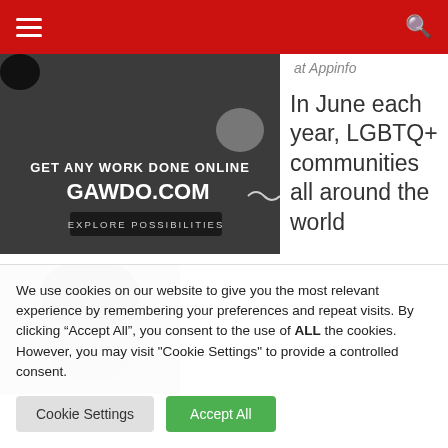Navigation bar with hamburger menu and search icon
[Figure (photo): Black and white image with text: GET ANY WORK DONE ONLINE GAWDO.COM EXPLORE POSSIBILITIES]
at Appinfo
In June each year, LGBTQ+ communities all around the world
[Figure (photo): Black and white photo of a person]
We use cookies on our website to give you the most relevant experience by remembering your preferences and repeat visits. By clicking “Accept All”, you consent to the use of ALL the cookies. However, you may visit "Cookie Settings" to provide a controlled consent.